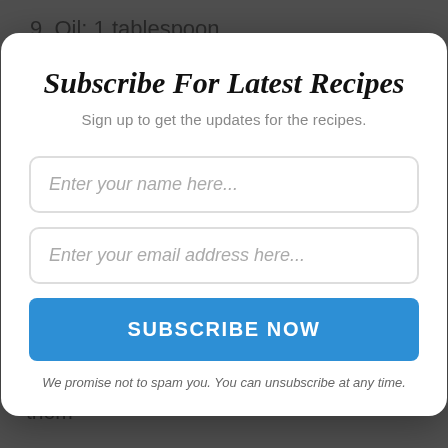9. Oil: 1 tablespoon
10. Wheat flour: 3 tablespoon
11. Chicken broth: 1 cup
Subscribe For Latest Recipes
Sign up to get the updates for the recipes.
Enter your name here...
Enter your email address here...
SUBSCRIBE NOW
We promise not to spam you. You can unsubscribe at any time.
salt, and honey. Mix them well until a smooth mixture is ready.
2. Take chicken breast fillets and beat them